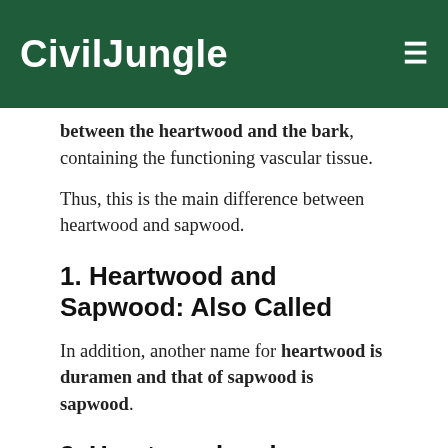CivilJungle
between the heartwood and the bark, containing the functioning vascular tissue.
Thus, this is the main difference between heartwood and sapwood.
1. Heartwood and Sapwood: Also Called
In addition, another name for heartwood is duramen and that of sapwood is sapwood.
2. Heartwood and Sapwood: Occurrence